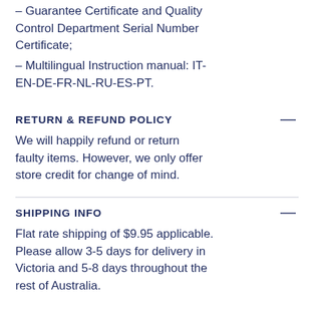– Guarantee Certificate and Quality Control Department Serial Number Certificate;
– Multilingual Instruction manual: IT-EN-DE-FR-NL-RU-ES-PT.
RETURN & REFUND POLICY
We will happily refund or return faulty items. However, we only offer store credit for change of mind.
SHIPPING INFO
Flat rate shipping of $9.95 applicable. Please allow 3-5 days for delivery in Victoria and 5-8 days throughout the rest of Australia.